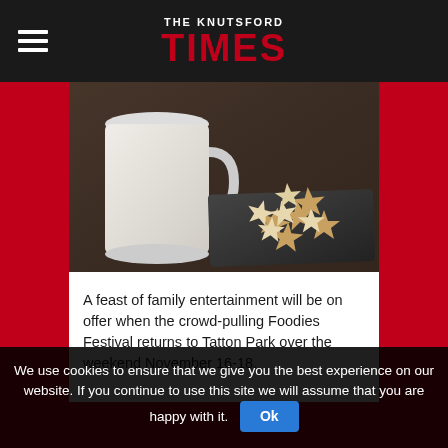THE KNUTSFORD TIMES
[Figure (photo): Star-shaped iced cookies/biscuits piled on a dark slate board with a white mug in the background on a dark wooden surface]
A feast of family entertainment will be on offer when the crowd-pulling Foodies Festival returns to Tatton Park over the weekend November 16-18.
We use cookies to ensure that we give you the best experience on our website. If you continue to use this site we will assume that you are happy with it.